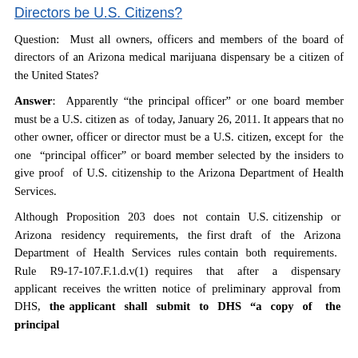Directors be U.S. Citizens?
Question:  Must all owners, officers and members of the board of directors of an Arizona medical marijuana dispensary be a citizen of the United States?
Answer:  Apparently “the principal officer” or one board member must be a U.S. citizen as of today, January 26, 2011. It appears that no other owner, officer or director must be a U.S. citizen, except for  the one  “principal officer” or board member selected by the insiders to give proof  of  U.S.  citizenship  to  the  Arizona  Department of Health Services.
Although  Proposition  203  does  not  contain  U.S. citizenship  or  Arizona  residency  requirements,  the  first draft  of  the  Arizona  Department  of  Health  Services  rules contain  both  requirements.   Rule  R9-17-107.F.1.d.v(1) requires  that  after  a  dispensary  applicant  receives  the written  notice  of  preliminary  approval  from  DHS,  the applicant shall submit to DHS “a copy of  the principal